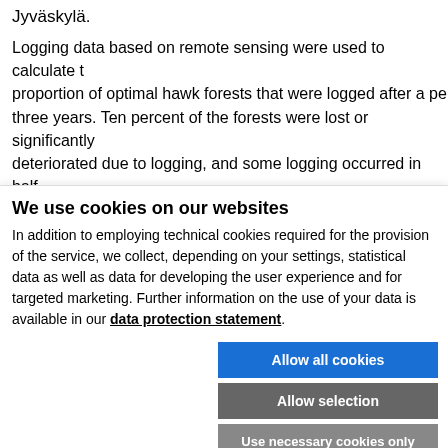Jyväskylä.
Logging data based on remote sensing were used to calculate the proportion of optimal hawk forests that were logged after a period of three years. Ten percent of the forests were lost or significantly deteriorated due to logging, and some logging occurred in half the hawk forests.
The goshawk has declined based on the long-term monitoring...
We use cookies on our websites
In addition to employing technical cookies required for the provision of the service, we collect, depending on your settings, statistical data as well as data for developing the user experience and for targeted marketing. Further information on the use of your data is available in our data protection statement.